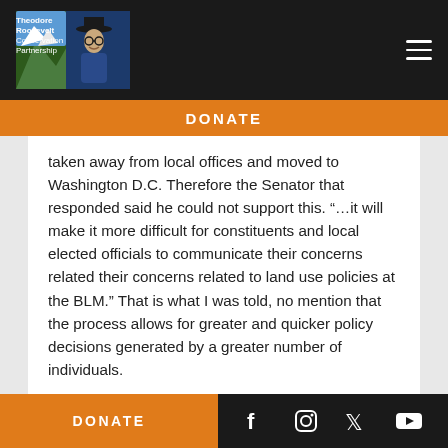Theodore Roosevelt Conservation Partnership — DONATE
taken away from local offices and moved to Washington D.C. Therefore the Senator that responded said he could not support this. “…it will make it more difficult for constituents and local elected officials to communicate their concerns related their concerns related to land use policies at the BLM.” That is what I was told, no mention that the process allows for greater and quicker policy decisions generated by a greater number of individuals.
DONATE